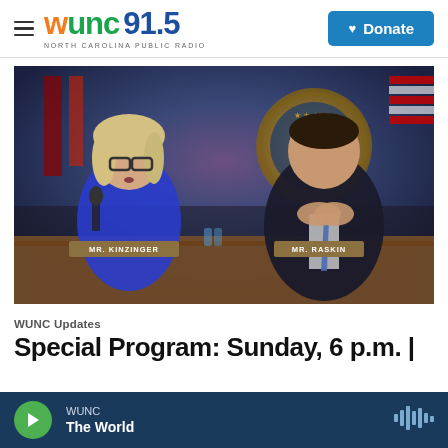WUNC 91.5 North Carolina Public Radio | Donate
[Figure (photo): Two members of the January 6th committee seated at a hearing table. A woman with blonde hair wearing a blue jacket speaking at a microphone (nameplate: MR. KINZINGER), and a man in a dark suit with hands clasped (nameplate: MR. RASKIN). American flags and a gold official seal appear in the background.]
WUNC Updates
Special Program: Sunday, 6 p.m. |
WUNC | The World